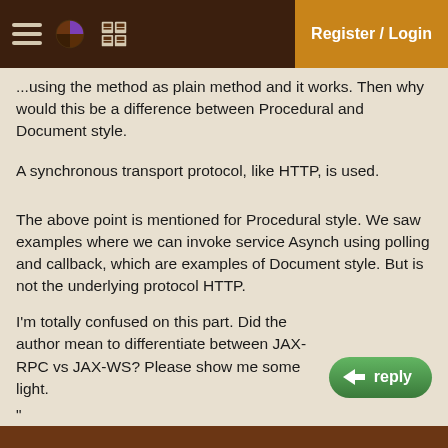Register / Login
...using the method as plain method and it works. Then why would this be a difference between Procedural and Document style.
A synchronous transport protocol, like HTTP, is used.
The above point is mentioned for Procedural style. We saw examples where we can invoke service Asynch using polling and callback, which are examples of Document style. But is not the underlying protocol HTTP.
I'm totally confused on this part. Did the author mean to differentiate between JAX-RPC vs JAX-WS? Please show me some light.
"